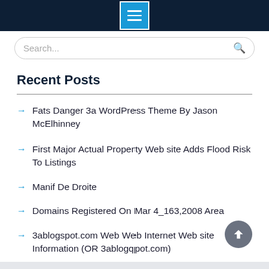Navigation menu header bar
Search...
Recent Posts
Fats Danger 3a WordPress Theme By Jason McElhinney
First Major Actual Property Web site Adds Flood Risk To Listings
Manif De Droite
Domains Registered On Mar 4_163,2008 Area
3ablogspot.com Web Web Internet Web site Information (OR 3ablogqpot.com)
Archives